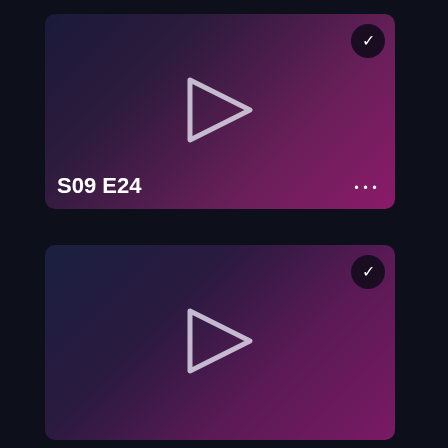[Figure (screenshot): Video thumbnail card for S09 E24 with purple gradient background, play button icon, checkmark circle in top-right corner, episode label bottom-left, and three-dot menu bottom-right]
S09 E24
[Figure (screenshot): Second video thumbnail card with purple-blue gradient background, play button icon, and checkmark circle in top-right corner]